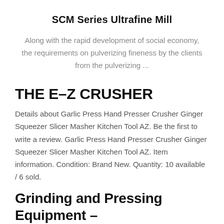SCM Series Ultrafine Mill
Along with the rapid development of social economy, the requirements on pulverizing fineness by the clients from the pulverizing ...
THE E-Z CRUSHER
Details about Garlic Press Hand Presser Crusher Ginger Squeezer Slicer Masher Kitchen Tool AZ. Be the first to write a review. Garlic Press Hand Presser Crusher Ginger Squeezer Slicer Masher Kitchen Tool AZ. Item information. Condition: Brand New. Quantity: 10 available / 6 sold.
Grinding and Pressing Equipment –